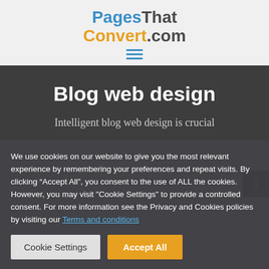PagesThatConvert.com
Blog web design
Intelligent blog web design is crucial
We use cookies on our website to give you the most relevant experience by remembering your preferences and repeat visits. By clicking “Accept All”, you consent to the use of ALL the cookies. However, you may visit "Cookie Settings" to provide a controlled consent. For more information see the Privacy and Cookies policies by visiting our Terms and conditions